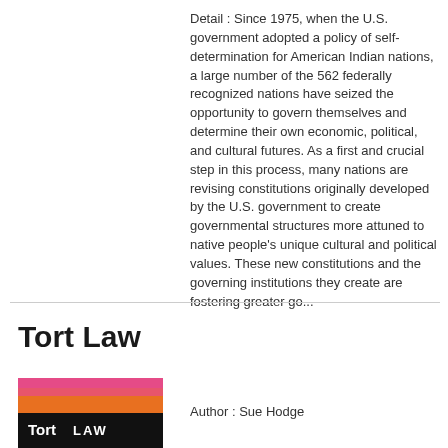Detail : Since 1975, when the U.S. government adopted a policy of self-determination for American Indian nations, a large number of the 562 federally recognized nations have seized the opportunity to govern themselves and determine their own economic, political, and cultural futures. As a first and crucial step in this process, many nations are revising constitutions originally developed by the U.S. government to create governmental structures more attuned to native people's unique cultural and political values. These new constitutions and the governing institutions they create are fostering greater go...
Tort Law
[Figure (illustration): Book cover thumbnail for Tort Law showing pink/orange gradient top half and black bottom half with white text 'Tort LAW']
Author : Sue Hodge